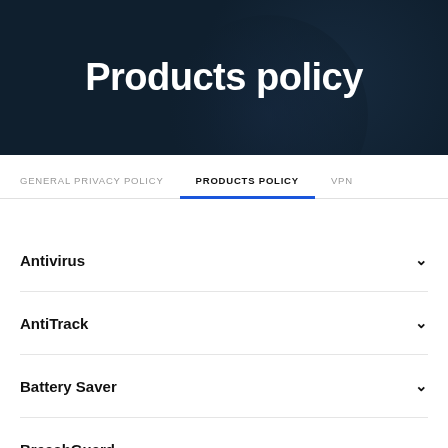Products policy
GENERAL PRIVACY POLICY   PRODUCTS POLICY   VPN
Antivirus
AntiTrack
Battery Saver
BreachGuard